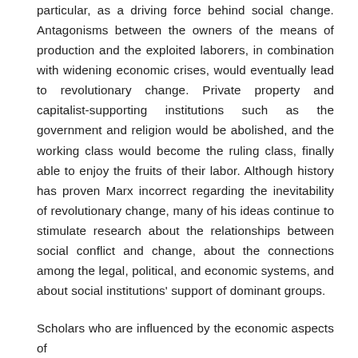particular, as a driving force behind social change. Antagonisms between the owners of the means of production and the exploited laborers, in combination with widening economic crises, would eventually lead to revolutionary change. Private property and capitalist-supporting institutions such as the government and religion would be abolished, and the working class would become the ruling class, finally able to enjoy the fruits of their labor. Although history has proven Marx incorrect regarding the inevitability of revolutionary change, many of his ideas continue to stimulate research about the relationships between social conflict and change, about the connections among the legal, political, and economic systems, and about social institutions' support of dominant groups.
Scholars who are influenced by the economic aspects of